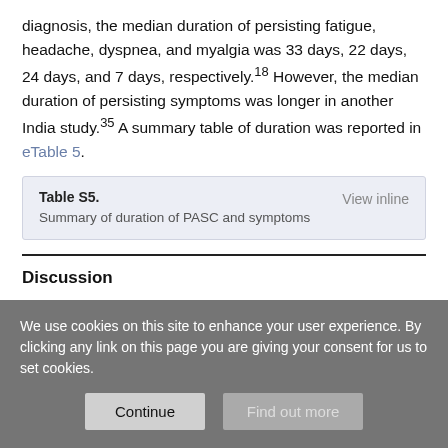diagnosis, the median duration of persisting fatigue, headache, dyspnea, and myalgia was 33 days, 22 days, 24 days, and 7 days, respectively.18 However, the median duration of persisting symptoms was longer in another India study.35 A summary table of duration was reported in eTable 5.
| Table S5. | View inline |
| --- | --- |
| Summary of duration of PASC and symptoms |  |
Discussion
We screened nearly 4.5 thousand articles and synthesized
We use cookies on this site to enhance your user experience. By clicking any link on this page you are giving your consent for us to set cookies.